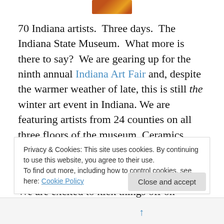[Figure (logo): Partial logo image visible at top center, brown and orange colors]
70 Indiana artists.  Three days.  The Indiana State Museum.  What more is there to say?  We are gearing up for the ninth annual Indiana Art Fair and, despite the warmer weather of late, this is still the winter art event in Indiana. We are featuring artists from 24 counties on all three floors of the museum. Ceramics, fiber, painting, mixed media, jewelry … the list just goes on!
We are excited to kick things off on Friday, Feb. 17 at 6 p.m. with a preview event.  The artists will be selling until
Privacy & Cookies: This site uses cookies. By continuing to use this website, you agree to their use.
To find out more, including how to control cookies, see here: Cookie Policy
Close and accept